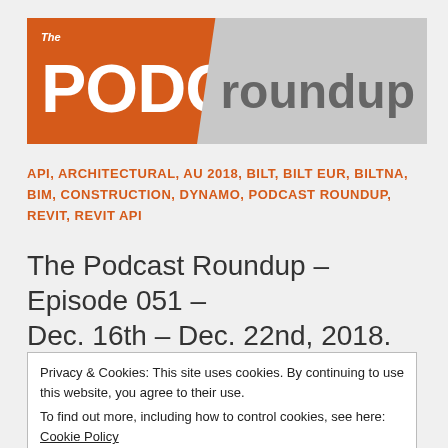[Figure (logo): The Podcast Roundup logo — orange trapezoid with white 'PODCAST' text and gray trapezoid with 'roundup' text]
API, ARCHITECTURAL, AU 2018, BILT, BILT EUR, BILTNA, BIM, CONSTRUCTION, DYNAMO, PODCAST ROUNDUP, REVIT, REVIT API
The Podcast Roundup – Episode 051 – Dec. 16th – Dec. 22nd, 2018.
Privacy & Cookies: This site uses cookies. By continuing to use this website, you agree to their use.
To find out more, including how to control cookies, see here: Cookie Policy
Close and accept